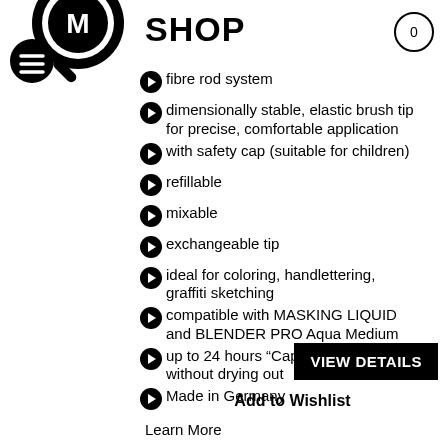[Figure (logo): Molotow brand logo: black circle with M letter and magnifying glass icon with menu lines]
SHOP
fibre rod system
dimensionally stable, elastic brush tip for precise, comfortable application
with safety cap (suitable for children)
refillable
mixable
exchangeable tip
ideal for coloring, handlettering, graffiti sketching
compatible with MASKING LIQUID and BLENDER PRO Aqua Medium
up to 24 hours “Cap Off” function without drying out
Made in Germany
VIEW DETAILS
Add to Wishlist
Learn More